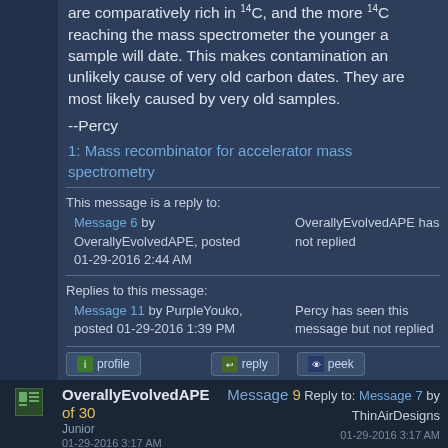are comparatively rich in ¹⁴C, and the more ¹⁴C reaching the mass spectrometer the younger a sample will date. This makes contamination an unlikely cause of very old carbon dates. They are most likely caused by very old samples.
--Percy
1: Mass recombinator for accelerator mass spectrometry
This message is a reply to:
Message 6 by OverallyEvolvedAPE, posted 01-29-2016 2:44 AM
OverallyEvolvedAPE has not replied
Replies to this message:
Message 11 by PurpleYouko, posted 01-29-2016 1:39 PM
Percy has seen this message but not replied
OverallyEvolvedAPE  Message 9 of 30  Junior  Reply to: Message 7 by ThinAirDesigns  01-29-2016 3:17 AM